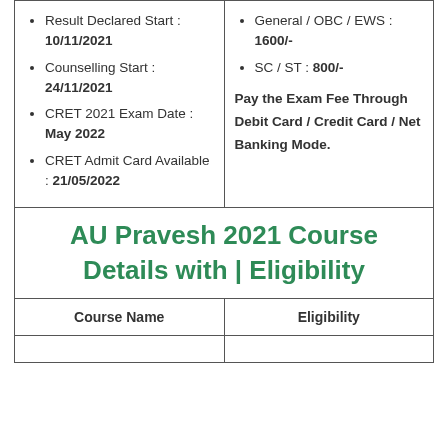Result Declared Start : 10/11/2021
Counselling Start : 24/11/2021
CRET 2021 Exam Date : May 2022
CRET Admit Card Available : 21/05/2022
General / OBC / EWS : 1600/-
SC / ST : 800/-
Pay the Exam Fee Through Debit Card / Credit Card / Net Banking Mode.
AU Pravesh 2021 Course Details with | Eligibility
| Course Name | Eligibility |
| --- | --- |
|  |  |